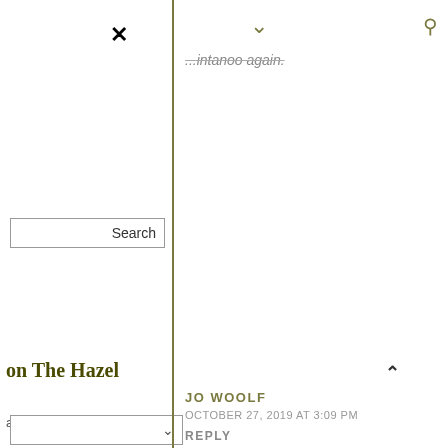×
∨
🔍
...intanoo again.
Search
on The Hazel
aclaine's skull – a
JO WOOLF
OCTOBER 27, 2019 AT 3:09 PM
REPLY
Hi Ashley, great to hear from you again! Thank you for your lovely comments. I'm glad you found me by looking for Atlantic hazel woods. We're lucky to live close to some here, especially on Seil island at Ballachuan. There's nothing quite like them. Yes, I gave the site a new